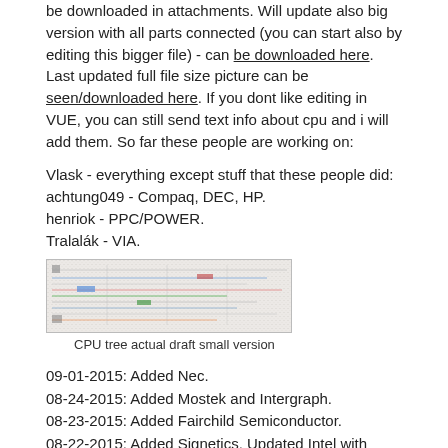be downloaded in attachments. Will update also big version with all parts connected (you can start also by editing this bigger file) - can be downloaded here. Last updated full file size picture can be seen/downloaded here. If you dont like editing in VUE, you can still send text info about cpu and i will add them. So far these people are working on:
Vlask - everything except stuff that these people did:
achtung049 - Compaq, DEC, HP.
henriok - PPC/POWER.
Tralalák - VIA.
[Figure (photo): CPU tree actual draft small version - a small thumbnail showing a dense colorful network/tree diagram of CPUs]
CPU tree actual draft small version
09-01-2015: Added Nec.
08-24-2015: Added Mostek and Intergraph.
08-23-2015: Added Fairchild Semiconductor.
08-22-2015: Added Signetics. Updated Intel with Quark.
08-19-2015: Added Ross Technology.
08-18-2015: Added Acorn Computers (now known as ARM).
08-04-2015: Added Chips and Technologies, MIPS Technologies and Quantum Effect Devices/PMC-Sierra.
07-29-2015: Added Moscow Center of SPARC Technologies, UMC and